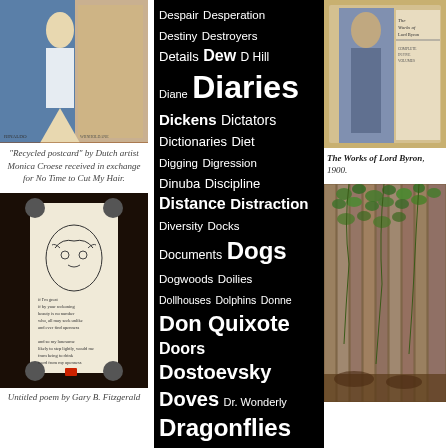[Figure (illustration): Colorful recycled postcard artwork showing a stylized figure, by Dutch artist Monica Croese]
"Recycled postcard" by Dutch artist Monica Croese received in exchange for No Time to Cut My Hair.
[Figure (photo): Scroll with face drawing and handwritten poem text, red seal at bottom]
Untitled poem by Gary B. Fitzgerald
Despair Desperation Destiny Destroyers Details Dew D Hill Diane Diaries Dickens Dictators Dictionaries Diet Digging Digression Dinuba Discipline Distance Distraction Diversity Docks Documents Dogs Dogwoods Doilies Dollhouses Dolphins Donne Don Quixote Doors Dostoevsky Doves Dr. Wonderly Dragonflies Drama Drawing Dreams Drought Drugs Ducks Dunlap Dust Dusting Dustpans Dwarf
[Figure (photo): The Works of Lord Byron book cover, 1900, showing figure with cape and book spine]
The Works of Lord Byron, 1900.
[Figure (photo): Wooden fence boards covered with green ivy/vine leaves]